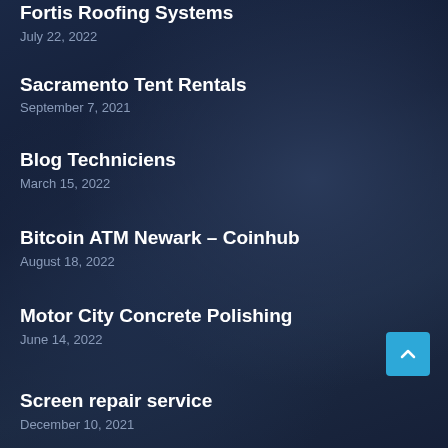Fortis Roofing Systems
July 22, 2022
Sacramento Tent Rentals
September 7, 2021
Blog Techniciens
March 15, 2022
Bitcoin ATM Newark – Coinhub
August 18, 2022
Motor City Concrete Polishing
June 14, 2022
Screen repair service
December 10, 2021